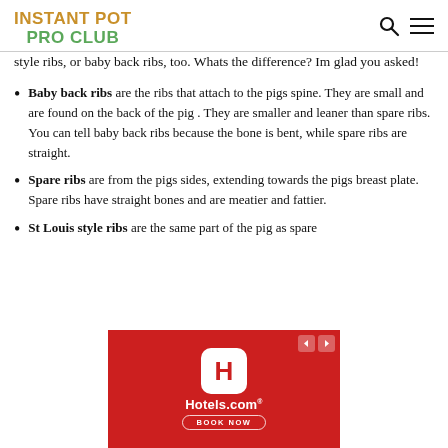INSTANT POT PRO CLUB
style ribs, or baby back ribs, too. Whats the difference? Im glad you asked!
Baby back ribs are the ribs that attach to the pigs spine. They are small and are found on the back of the pig . They are smaller and leaner than spare ribs. You can tell baby back ribs because the bone is bent, while spare ribs are straight.
Spare ribs are from the pigs sides, extending towards the pigs breast plate. Spare ribs have straight bones and are meatier and fattier.
St Louis style ribs are the same part of the pig as spare
[Figure (screenshot): Hotels.com advertisement banner with red background, Hotels.com logo icon in white rounded square, Hotels.com text, and BOOK NOW button]